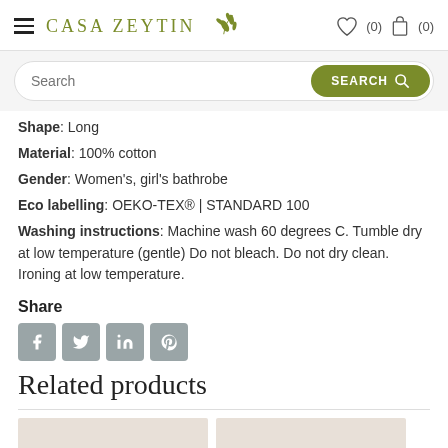CASA ZEYTIN
Shape: Long
Material: 100% cotton
Gender: Women's, girl's bathrobe
Eco labelling: OEKO-TEX® | STANDARD 100
Washing instructions: Machine wash 60 degrees C. Tumble dry at low temperature (gentle) Do not bleach. Do not dry clean. Ironing at low temperature.
Share
[Figure (other): Social media share icons: Facebook, Twitter, LinkedIn, Pinterest]
Related products
[Figure (other): Related product thumbnails (partially visible at page bottom)]